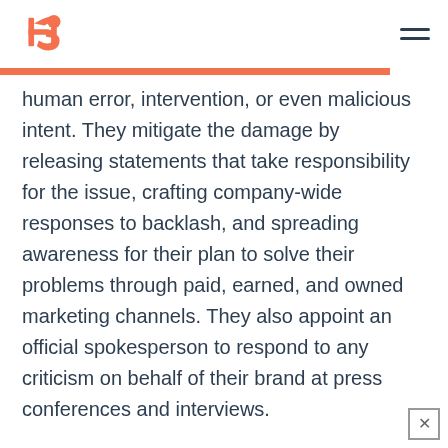HubSpot logo and navigation
human error, intervention, or even malicious intent. They mitigate the damage by releasing statements that take responsibility for the issue, crafting company-wide responses to backlash, and spreading awareness for their plan to solve their problems through paid, earned, and owned marketing channels. They also appoint an official spokesperson to respond to any criticism on behalf of their brand at press conferences and interviews.
Public Relations Salaries
Listed below are the average salaries in Public Rela grou